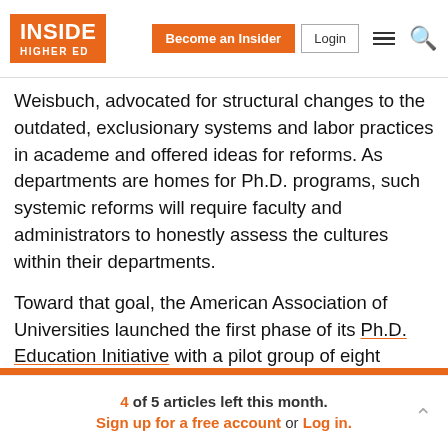Inside Higher Ed | Become an Insider | Login
Weisbuch, advocated for structural changes to the outdated, exclusionary systems and labor practices in academe and offered ideas for reforms. As departments are homes for Ph.D. programs, such systemic reforms will require faculty and administrators to honestly assess the cultures within their departments.
Toward that goal, the American Association of Universities launched the first phase of its Ph.D. Education Initiative with a pilot group of eight universities, representing 31 academic departments, to make graduate education more student-centered and the full
4 of 5 articles left this month. Sign up for a free account or Log in.